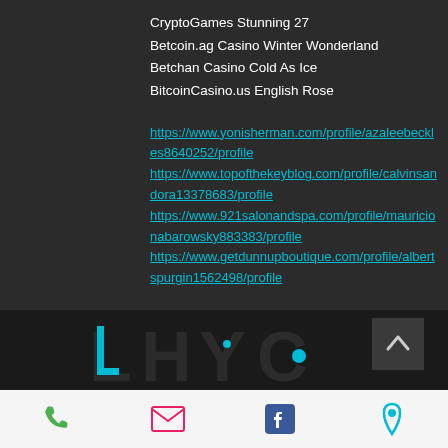CryptoGames Stunning 27
Betcoin.ag Casino Winter Wonderland
Betchan Casino Cold As Ice
BitcoinCasino.us English Rose
https://www.yonisherman.com/profile/azaleebeckles8640252/profile https://www.topofthekeyblog.com/profile/calvinsandora13378683/profile https://www.921salonandspa.com/profile/mauricionabarowsky883383/profile https://www.getdunnupboutique.com/profile/albertspurgin1562498/profile
[Figure (logo): LHYC - Life House Youth Center logo with teal accents on dark background]
626 649 5549 | P.O. BOX 695
[Figure (other): Mobile footer navigation bar with phone, email, Facebook, and location icons]